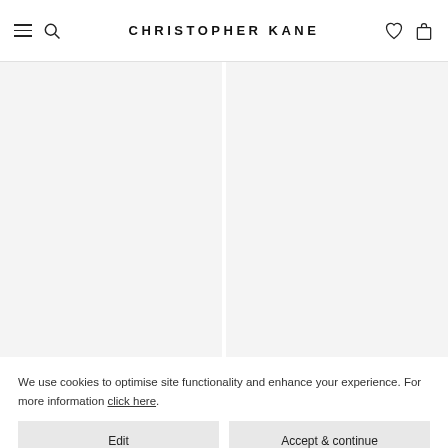CHRISTOPHER KANE
[Figure (screenshot): Two-column product grid area with light gray background, no products loaded]
We use cookies to optimise site functionality and enhance your experience. For more information click here.
Edit
Accept & continue